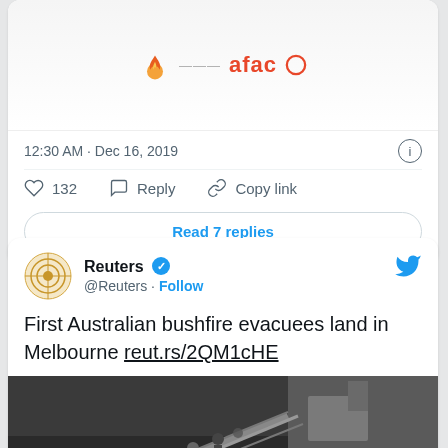[Figure (screenshot): Top portion of a tweet card showing AFAC logo image with timestamp 12:30 AM · Dec 16, 2019, like count 132, Reply and Copy link actions, and Read 7 replies button]
[Figure (screenshot): Reuters Twitter tweet card showing Reuters verified account (@Reuters) with Follow button, tweet text 'First Australian bushfire evacuees land in Melbourne reut.rs/2QM1cHE', and a photo of people on a ship gangway/ramp. A reCAPTCHA widget is visible in the bottom-right corner.]